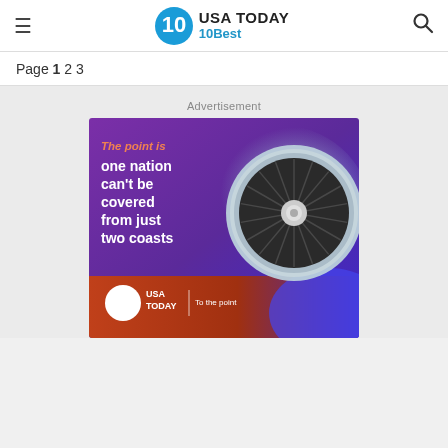USA TODAY 10Best
Page 1 2 3
Advertisement
[Figure (illustration): USA Today advertisement featuring text 'The point is one nation can't be covered from just two coasts' with a jet engine photo and USA TODAY | To the point branding, on a purple/blue gradient background.]